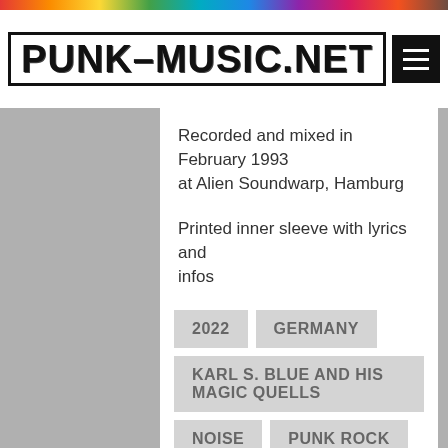PUNK-MUSIC.NET
Recorded and mixed in February 1993 at Alien Soundwarp, Hamburg
Printed inner sleeve with lyrics and infos
included are two 11x35inch Posters
2022
GERMANY
KARL S. BLUE AND HIS MAGIC QUELLS
NOISE
PUNK ROCK